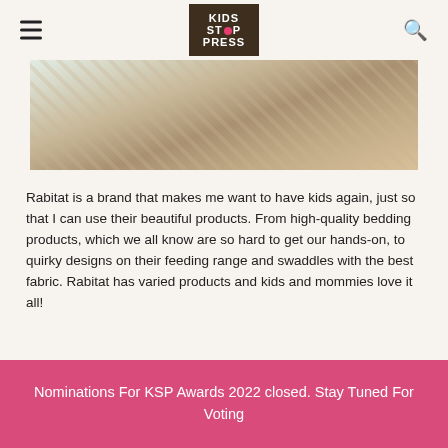KIDS STOP PRESS
[Figure (photo): Partial view of a children's product (fabric/bedding) with colorful design on white material, overlaid on a fluffy beige/tan textured surface]
Rabitat is a brand that makes me want to have kids again, just so that I can use their beautiful products. From high-quality bedding products, which we all know are so hard to get our hands-on, to quirky designs on their feeding range and swaddles with the best fabric. Rabitat has varied products and kids and mommies love it all!
Nominations For KSP Awards 2022 closed. Stay Tuned For Voting